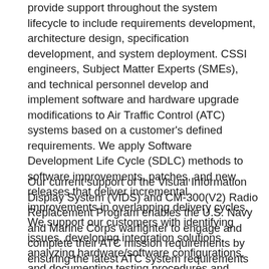provide support throughout the system lifecycle to include requirements development, architecture design, specification development, and system deployment. CSSI engineers, Subject Matter Experts (SMEs), and technical personnel develop and implement software and hardware upgrade modifications to Air Traffic Control (ATC) systems based on a customer's defined requirements. We apply Software Development Life Cycle (SDLC) methods to software improvements, patches, and new releases that deliver incremental improvements in overlapping delivery cycles. We support our customers with identifying issues, developing integration solutions, analyzing hardware/software configurations, and documenting testing procedures and results.
Our current support of the Visual Information Display System (VIDS) and CM-300(V2) Radio Replacement Program enables the U.S. Navy and Marine Corps warfighter to engage and complete their ATC mission requirements by ensuring the latest ATC system requirements are met. Our highly skilled drafters and field technicians provide system integration support in both laboratory and worldwide on-